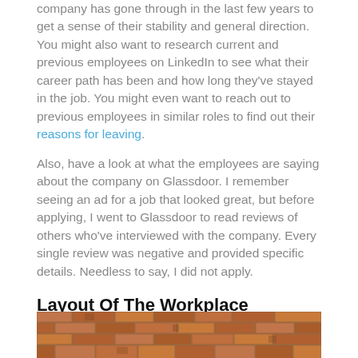company has gone through in the last few years to get a sense of their stability and general direction. You might also want to research current and previous employees on LinkedIn to see what their career path has been and how long they've stayed in the job. You might even want to reach out to previous employees in similar roles to find out their reasons for leaving.
Also, have a look at what the employees are saying about the company on Glassdoor. I remember seeing an ad for a job that looked great, but before applying, I went to Glassdoor to read reviews of others who've interviewed with the company. Every single review was negative and provided specific details. Needless to say, I did not apply.
Layout Of The Workplace
[Figure (photo): Photo of a brick wall exterior, close-up view showing rows of orange and brown bricks with mortar joints.]